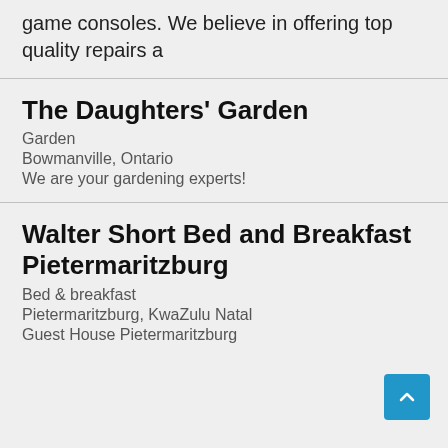game consoles. We believe in offering top quality repairs a
The Daughters' Garden
Garden
Bowmanville, Ontario
We are your gardening experts!
Walter Short Bed and Breakfast Pietermaritzburg
Bed & breakfast
Pietermaritzburg, KwaZulu Natal
Guest House Pietermaritzburg